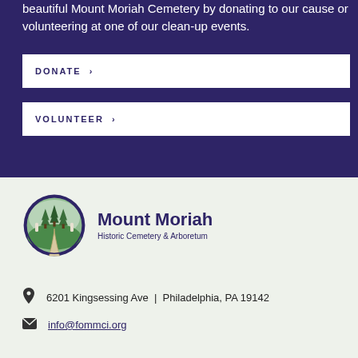beautiful Mount Moriah Cemetery by donating to our cause or volunteering at one of our clean-up events.
DONATE >
VOLUNTEER >
[Figure (logo): Mount Moriah Historic Cemetery & Arboretum circular logo with trees and pathway]
Mount Moriah Historic Cemetery & Arboretum
6201 Kingsessing Ave | Philadelphia, PA 19142
info@fommci.org